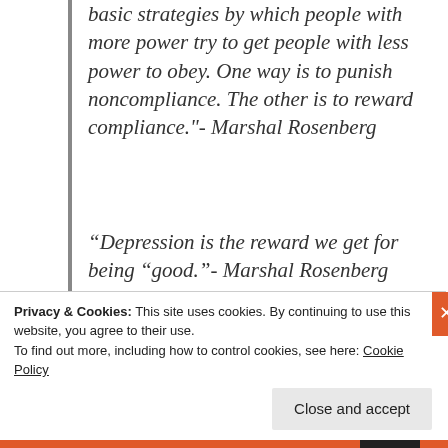basic strategies by which people with more power try to get people with less power to obey. One way is to punish noncompliance. The other is to reward compliance."- Marshal Rosenberg
“Depression is the reward we get for being “good.”- Marshal Rosenberg
“The most dangerous of all behaviors may
Privacy & Cookies: This site uses cookies. By continuing to use this website, you agree to their use.
To find out more, including how to control cookies, see here: Cookie Policy